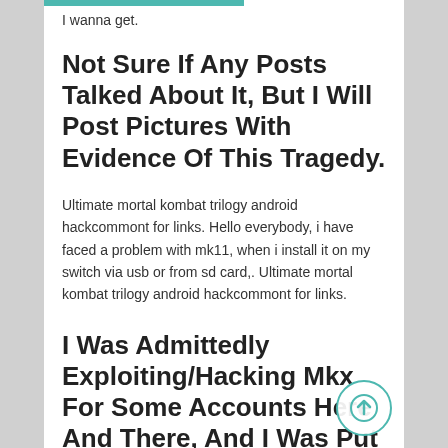I wanna get.
Not Sure If Any Posts Talked About It, But I Will Post Pictures With Evidence Of This Tragedy.
Ultimate mortal kombat trilogy android hackcommont for links. Hello everybody, i have faced a problem with mk11, when i install it on my switch via usb or from sd card,. Ultimate mortal kombat trilogy android hackcommont for links.
I Was Admittedly Exploiting/Hacking Mkx For Some Accounts Here And There, And I Was Put To A